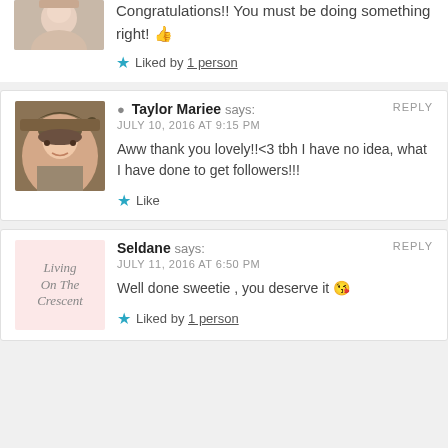Congratulations!! You must be doing something right! 👍
★ Liked by 1 person
Taylor Mariee says: JULY 10, 2016 AT 9:15 PM — Aww thank you lovely!!<3 tbh I have no idea, what I have done to get followers!!!
★ Like
Seldane says: JULY 11, 2016 AT 6:50 PM — Well done sweetie , you deserve it 😘
★ Liked by 1 person